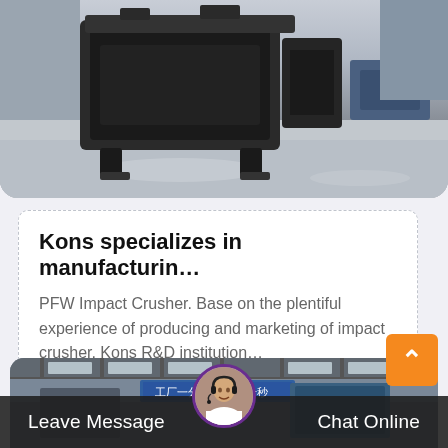[Figure (photo): Top portion of a large black industrial impact crusher machine on a factory floor with grey/blue painted concrete floor]
Kons specializes in manufacturin…
PFW Impact Crusher. Base on the plentiful experience of producing and marketing of impact crusher, Kons R&D institution…
[Figure (photo): Interior of a large industrial manufacturing factory building with steel structure roof and Chinese safety signage banner]
Leave Message
Chat Online